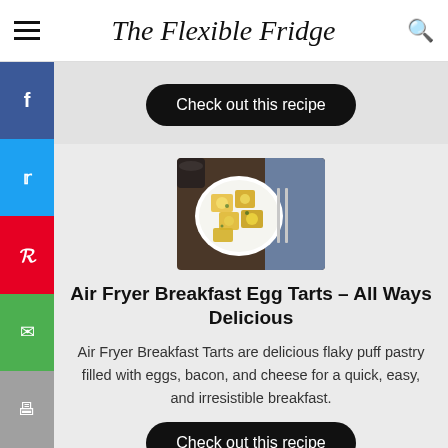The Flexible Fridge
Check out this recipe
[Figure (photo): Overhead photo of air fryer breakfast egg tarts on a white plate with a dark beverage and cutlery on a blue cloth]
Air Fryer Breakfast Egg Tarts – All Ways Delicious
Air Fryer Breakfast Tarts are delicious flaky puff pastry filled with eggs, bacon, and cheese for a quick, easy, and irresistible breakfast.
Check out this recipe